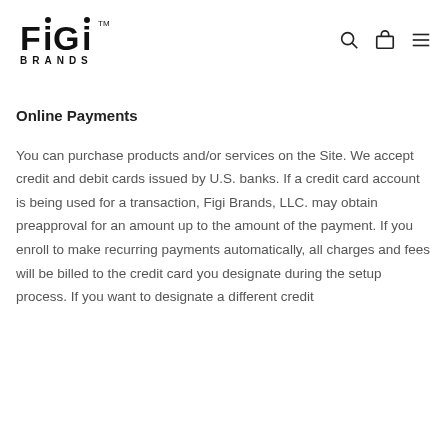[Figure (logo): Figi Brands logo with stylized lettering and 'BRANDS' text below]
Online Payments
You can purchase products and/or services on the Site. We accept credit and debit cards issued by U.S. banks. If a credit card account is being used for a transaction, Figi Brands, LLC. may obtain preapproval for an amount up to the amount of the payment. If you enroll to make recurring payments automatically, all charges and fees will be billed to the credit card you designate during the setup process. If you want to designate a different credit